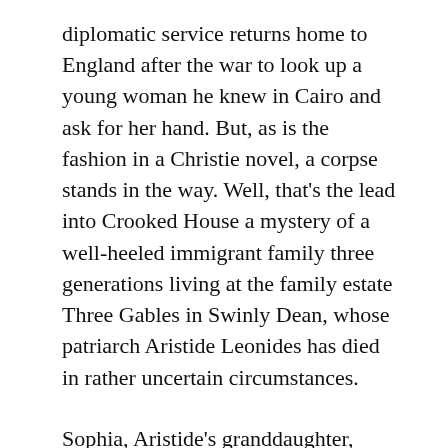diplomatic service returns home to England after the war to look up a young woman he knew in Cairo and ask for her hand. But, as is the fashion in a Christie novel, a corpse stands in the way. Well, that's the lead into Crooked House a mystery of a well-heeled immigrant family three generations living at the family estate Three Gables in Swinly Dean, whose patriarch Aristide Leonides has died in rather uncertain circumstances.
Sophia, Aristide's granddaughter, whose hand it is being sought, invites Charles to the house to meet her family and discretely see if he can assist the police, lead by Chief Inspector Traverner, as Charles's father is an Assistant